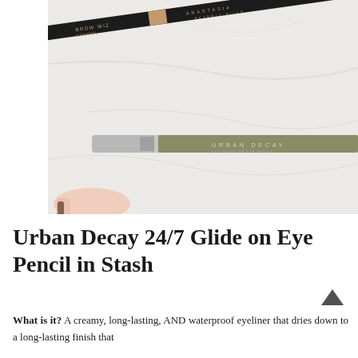[Figure (photo): Photo showing two makeup pencils on a marble surface: an Anastasia Beverly Hills brow pencil (black with rose gold band) diagonally at the top, and an Urban Decay pencil (khaki/olive body with silver cap) horizontally at the bottom. A hand holding a brush is partially visible at lower left.]
Urban Decay 24/7 Glide on Eye Pencil in Stash
What is it? A creamy, long-lasting, AND waterproof eyeliner that dries down to a long-lasting finish that